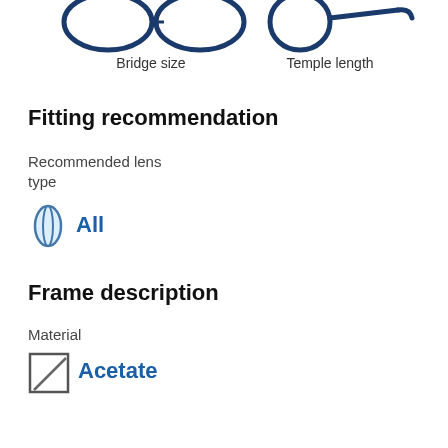[Figure (illustration): Two decorative eyeglass frame icons at top: bridge size icon and temple length icon]
Bridge size
Temple length
Fitting recommendation
Recommended lens type
[Figure (illustration): Lens icon (oval shape with line through center)]
All
Frame description
Material
[Figure (illustration): Square icon with diagonal line (acetate material symbol)]
Acetate